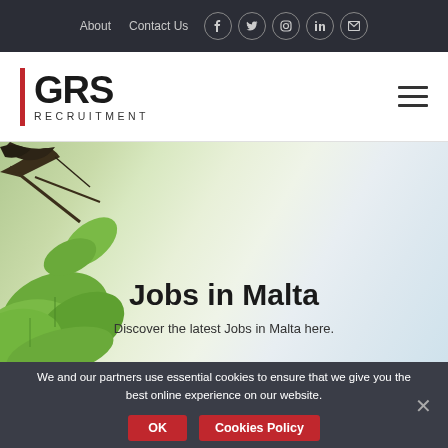About  Contact Us  [social icons: facebook, twitter, instagram, linkedin, email]
[Figure (logo): GRS Recruitment logo with red vertical bar on left, bold GRS text, and RECRUITMENT subtitle in small caps]
[Figure (photo): Hero banner with green leaves on left side and light sky background, containing heading 'Jobs in Malta' and subheading 'Discover the latest Jobs in Malta here.']
Jobs in Malta
Discover the latest Jobs in Malta here.
We and our partners use essential cookies to ensure that we give you the best online experience on our website.